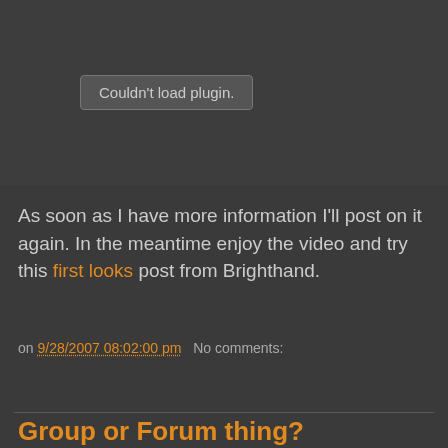[Figure (other): Dark gray area with a browser plugin error box reading 'Couldn't load plugin.']
As soon as I have more information I'll post on it again. In the meantime enjoy the video and try this first looks post from Brighthand.
on 9/28/2007 08:02:00 pm   No comments:
Share
Group or Forum thing?